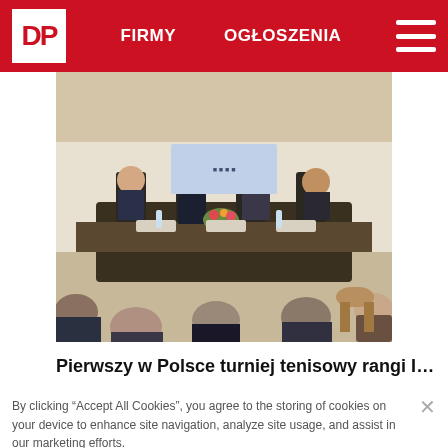DP | FIRMY | OGŁOSZENIA
[Figure (photo): Conference room with people seated at tables, viewed from behind, a panel of speakers at the front table]
Pierwszy w Polsce turniej tenisowy rangi ITF W100
By clicking "Accept All Cookies", you agree to the storing of cookies on your device to enhance site navigation, analyze site usage, and assist in our marketing efforts.
Cookies Settings
Reject All
Accept All Cookies